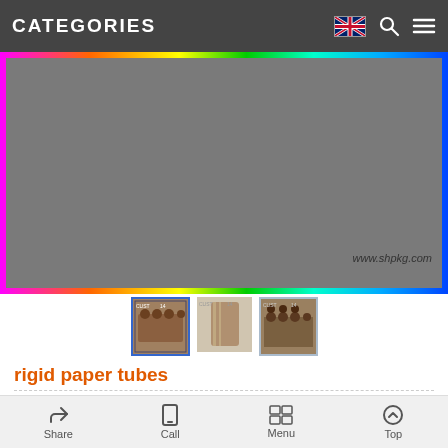CATEGORIES
[Figure (photo): Large product photo of rigid paper tubes stacked on pallets, with rainbow-colored decorative border and repeating CUSTOM watermarks; website url www.shpkg.com shown at bottom right]
[Figure (photo): Three thumbnail images of the product: paper tubes bundle (active/selected), single tube, and stacked tubes]
rigid paper tubes
Printing Customized
Dimension/Size: As per client's requirements
Material: Virgin Paper, Art Paper, Duplex Paper, Kraft
Share  Call  Menu  Top